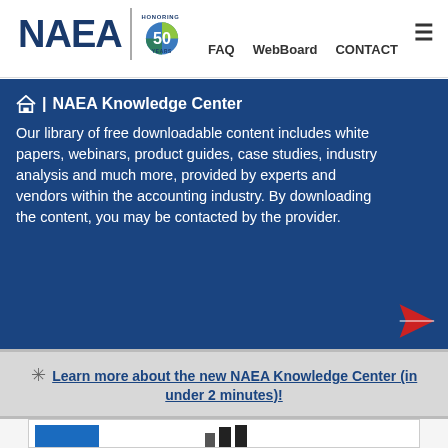[Figure (logo): NAEA logo with '50 Years' badge — dark blue NAEA text, vertical divider, circular 50th anniversary badge with HONORING 50 YEARS text]
FAQ   WebBoard   CONTACT
NAEA Knowledge Center
Our library of free downloadable content includes white papers, webinars, product guides, case studies, industry analysis and much more, provided by experts and vendors within the accounting industry. By downloading the content, you may be contacted by the provider.
Learn more about the new NAEA Knowledge Center (in under 2 minutes)!
[Figure (screenshot): Partial bottom content card visible — blue rectangle on left, bar chart icons on right]